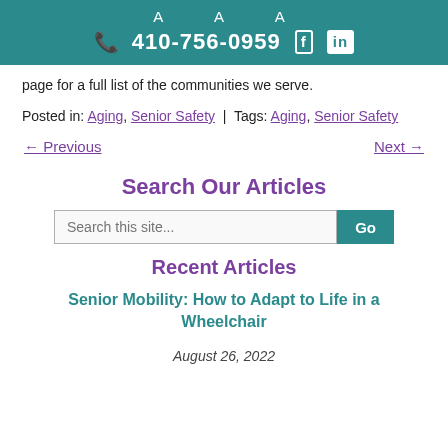A A A  410-756-0959  f  in
page for a full list of the communities we serve.
Posted in: Aging, Senior Safety | Tags: Aging, Senior Safety
← Previous
Next →
Search Our Articles
Recent Articles
Senior Mobility: How to Adapt to Life in a Wheelchair
August 26, 2022